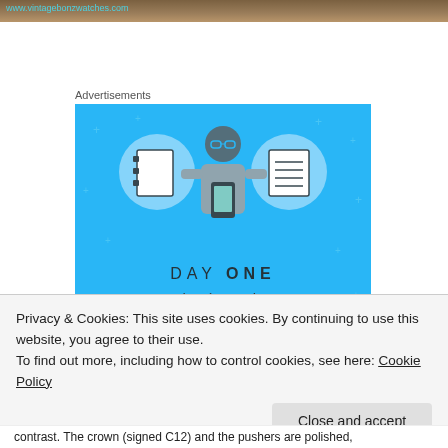[Figure (photo): Top strip of a webpage with a URL bar showing www.vintagebonzwatches.com and a partial photo of a watch]
Advertisements
[Figure (infographic): Day One app advertisement on blue background. Shows icons of notebooks and a person using a phone. Text reads: DAY ONE - The only journaling app you'll ever need.]
Privacy & Cookies: This site uses cookies. By continuing to use this website, you agree to their use.
To find out more, including how to control cookies, see here: Cookie Policy
Close and accept
contrast. The crown (signed C12) and the pushers are polished,